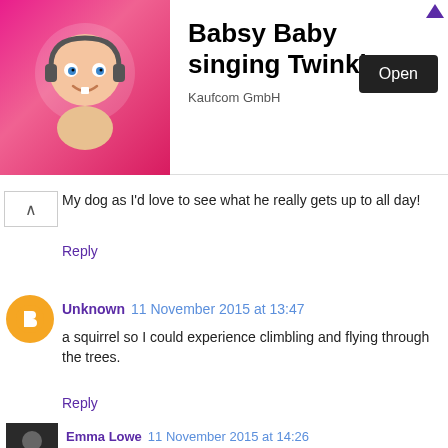[Figure (illustration): Babsy Baby app advertisement banner with cartoon baby image on pink background, title 'Babsy Baby singing Twinkle', publisher 'Kaufcom GmbH', and 'Open' button]
My dog as I'd love to see what he really gets up to all day!
Reply
Unknown  11 November 2015 at 13:47
a squirrel so I could experience climbling and flying through the trees.
Reply
Emma Lowe  11 November 2015 at 14:26
i would magnet myself to the hubby, he could then see how being a stay at home mum isnt as easy as he seems to think.
Reply